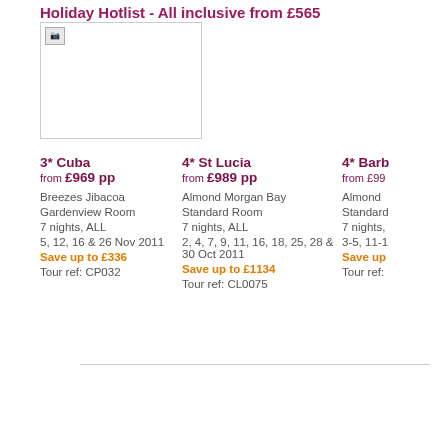Holiday Hotlist - All inclusive from £565
[Figure (photo): Hotel or resort photo placeholder image]
3* Cuba
from £969 pp
Breezes Jibacoa
Gardenview Room
7 nights, ALL
5, 12, 16 & 26 Nov 2011
Save up to £336
Tour ref: CP032
4* St Lucia
from £989 pp
Almond Morgan Bay
Standard Room
7 nights, ALL
2, 4, 7, 9, 11, 16, 18, 25, 28 & 30 Oct 2011
Save up to £1134
Tour ref: CL0075
4* Barb
from £99
Almond
Standard
7 nights,
3-5, 11-1
Save up
Tour ref: